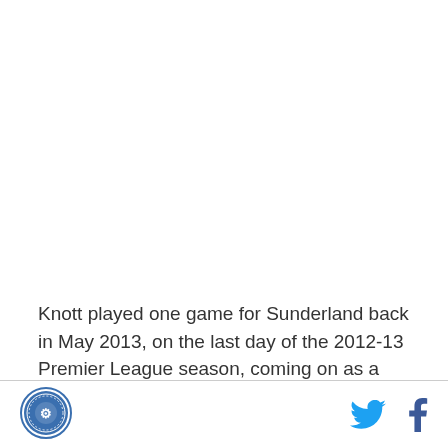Knott played one game for Sunderland back in May 2013, on the last day of the 2012-13 Premier League season, coming on as a substitute in a 1-0 defeat to Tottenham at White Hart Lane. He had a few loan
[Figure (logo): Circular badge/crest logo, blue and white with decorative border]
[Figure (other): Twitter bird icon (blue) and Facebook 'f' icon (dark blue) social media sharing buttons]